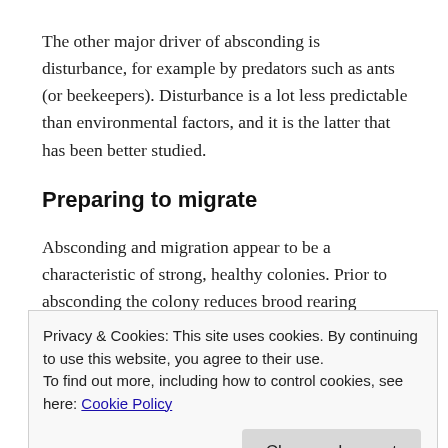The other major driver of absconding is disturbance, for example by predators such as ants (or beekeepers). Disturbance is a lot less predictable than environmental factors, and it is the latter that has been better studied.
Preparing to migrate
Absconding and migration appear to be a characteristic of strong, healthy colonies. Prior to absconding the colony reduces brood rearing drastically although the queen continues to lay a very limited number of eggs until the bulk of the worker brood has emerged 7.
Privacy & Cookies: This site uses cookies. By continuing to use this website, you agree to their use.
To find out more, including how to control cookies, see here: Cookie Policy
process taking at least a fortnight from the near-cessation of